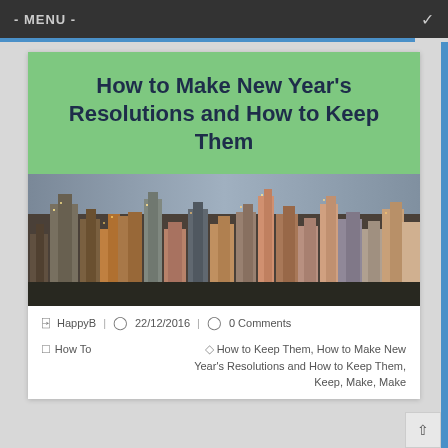- MENU -
How to Make New Year's Resolutions and How to Keep Them
[Figure (photo): Aerial view of a city skyline with tall buildings]
HappyB | 22/12/2016 | 0 Comments
How To
How to Keep Them, How to Make New Year's Resolutions and How to Keep Them, Keep, Make, Make